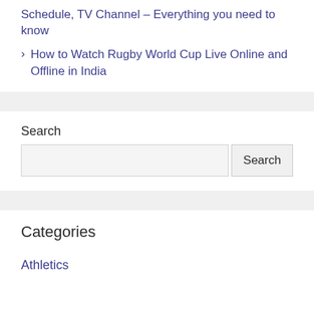Schedule, TV Channel – Everything you need to know
How to Watch Rugby World Cup Live Online and Offline in India
Search
Categories
Athletics